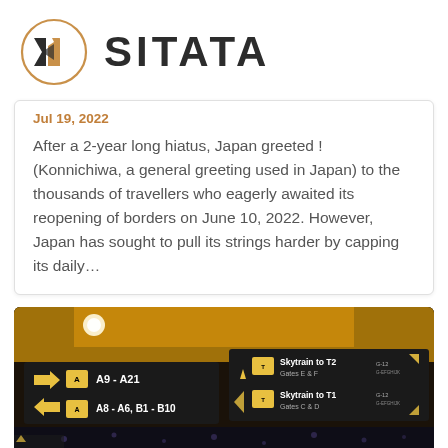SITATA
Jul 19, 2022
After a 2-year long hiatus, Japan greeted ! (Konnichiwa, a general greeting used in Japan) to the thousands of travellers who eagerly awaited its reopening of borders on June 10, 2022. However, Japan has sought to pull its strings harder by capping its daily...
[Figure (photo): Airport terminal directional signage with yellow and black signs showing gate directions: A9-A21, A8-A6, B1-B10, Skytrain to T2 Gates E and F, Skytrain to T1 Gates C and D, with arrows indicating directions]